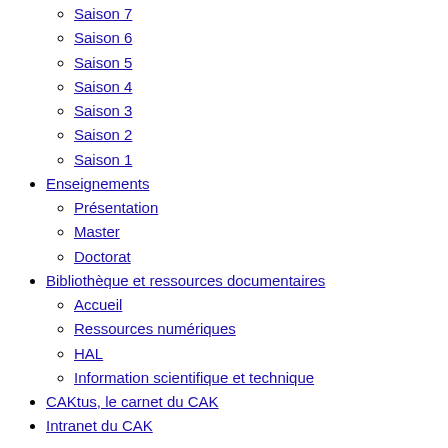Saison 7
Saison 6
Saison 5
Saison 4
Saison 3
Saison 2
Saison 1
Enseignements
Présentation
Master
Doctorat
Bibliothèque et ressources documentaires
Accueil
Ressources numériques
HAL
Information scientifique et technique
CAKtus, le carnet du CAK
Intranet du CAK
Centre Alexandre-Koyré
UMR 8560 EHESS/CNRS/MNHN
Campus Condorcet / bât. EHESS
2 cours des Humanités
93322 Aubervilliers cedex
France